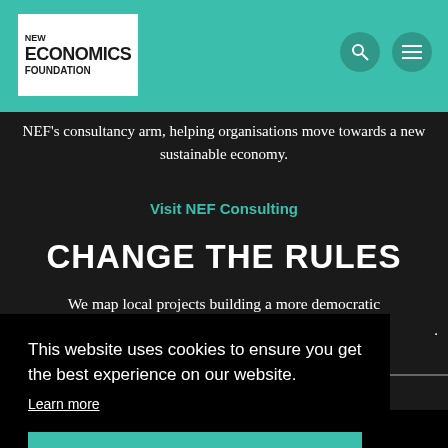NEW ECONOMICS FOUNDATION
NEF's consultancy arm, helping organisations move towards a new sustainable economy.
Visit NEF Consulting
CHANGE THE RULES
We map local projects building a more democratic
This website uses cookies to ensure you get the best experience on our website.
Learn more
Got it!